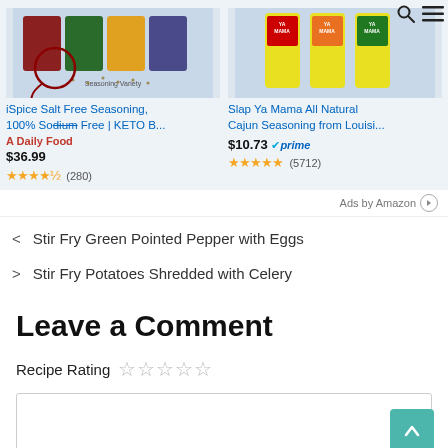[Figure (screenshot): Amazon ad showing two seasoning products side by side. Left: iSpice Salt Free Seasoning 100% Sodium Free KETO B... priced at $36.99 with 4.5 stars (280 reviews). Right: Slap Ya Mama All Natural Cajun Seasoning from Louisi... priced at $10.73 with Prime badge, 5 stars (5712 reviews).]
Ads by Amazon
< Stir Fry Green Pointed Pepper with Eggs
> Stir Fry Potatoes Shredded with Celery
Leave a Comment
Recipe Rating ☆☆☆☆☆